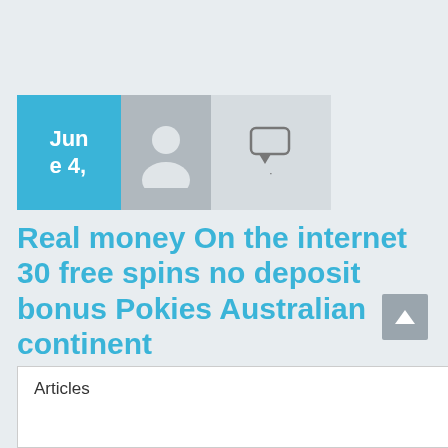[Figure (other): Date badge showing 'June 4', user avatar silhouette, and comment icon with dot]
Real money On the internet 30 free spins no deposit bonus Pokies Australian continent
Category : Uncategorized
Articles